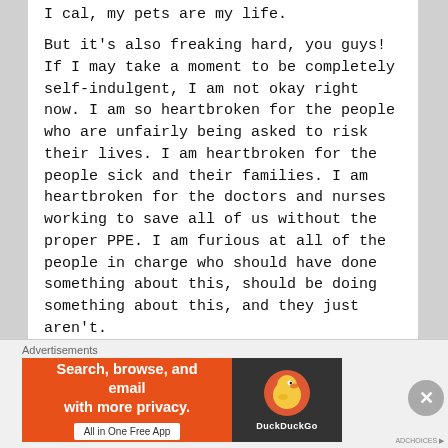I cal, my pets are my life.
But it’s also freaking hard, you guys! If I may take a moment to be completely self-indulgent, I am not okay right now. I am so heartbroken for the people who are unfairly being asked to risk their lives. I am heartbroken for the people sick and their families. I am heartbroken for the doctors and nurses working to save all of us without the proper PPE. I am furious at all of the people in charge who should have done something about this, should be doing something about this, and they just aren’t.
I’m struggling with all these dark emotions, struggling with my anxiety and depression, struggling to find new routines in this new
[Figure (infographic): DuckDuckGo advertisement banner. Orange background with white bold text reading 'Search, browse, and email with more privacy.' and a white button labeled 'All in One Free App'. Right side has dark background with DuckDuckGo logo (duck icon) and brand name.]
Advertisements